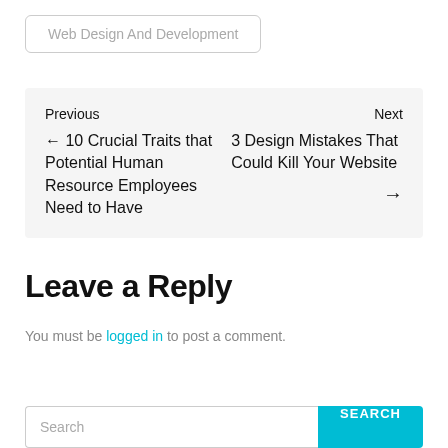Web Design And Development
Previous
← 10 Crucial Traits that Potential Human Resource Employees Need to Have
Next
3 Design Mistakes That Could Kill Your Website →
Leave a Reply
You must be logged in to post a comment.
Search